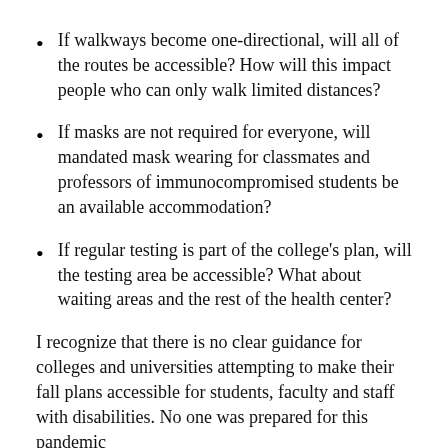If walkways become one-directional, will all of the routes be accessible? How will this impact people who can only walk limited distances?
If masks are not required for everyone, will mandated mask wearing for classmates and professors of immunocompromised students be an available accommodation?
If regular testing is part of the college's plan, will the testing area be accessible? What about waiting areas and the rest of the health center?
I recognize that there is no clear guidance for colleges and universities attempting to make their fall plans accessible for students, faculty and staff with disabilities. No one was prepared for this pandemic